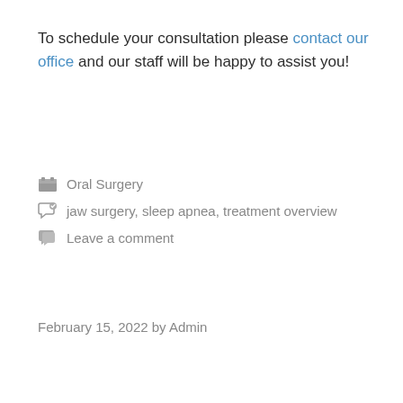To schedule your consultation please contact our office and our staff will be happy to assist you!
Oral Surgery
jaw surgery, sleep apnea, treatment overview
Leave a comment
February 15, 2022 by Admin